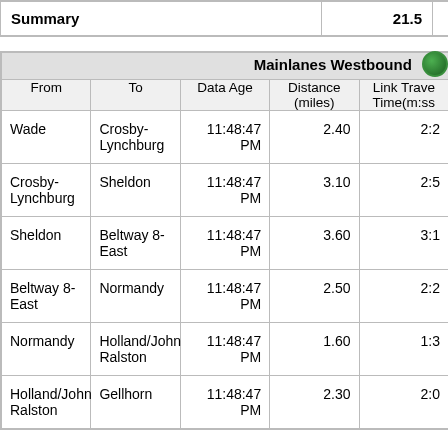| Summary |  | 21.5 |  |
| --- | --- | --- | --- |
| From | To | Data Age | Distance (miles) | Link Travel Time(m:ss) |
| --- | --- | --- | --- | --- |
| Wade | Crosby-Lynchburg | 11:48:47 PM | 2.40 | 2:2 |
| Crosby-Lynchburg | Sheldon | 11:48:47 PM | 3.10 | 2:5 |
| Sheldon | Beltway 8-East | 11:48:47 PM | 3.60 | 3:1 |
| Beltway 8-East | Normandy | 11:48:47 PM | 2.50 | 2:2 |
| Normandy | Holland/John Ralston | 11:48:47 PM | 1.60 | 1:3 |
| Holland/John Ralston | Gellhorn | 11:48:47 PM | 2.30 | 2:0 |